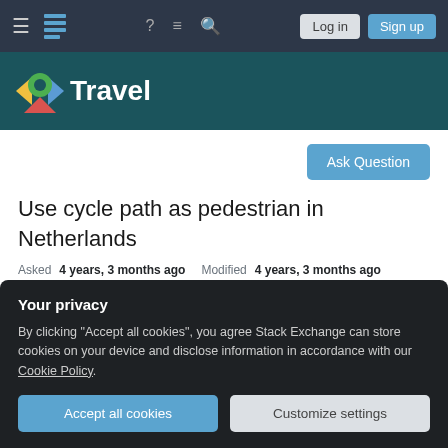Navigation bar with hamburger menu, stack exchange icon, help, chat, search icons, Log in and Sign up buttons
[Figure (logo): Stack Exchange Travel site logo — colorful arrow/pin icon with white text 'Travel' on dark teal background]
Ask Question
Use cycle path as pedestrian in Netherlands
Asked 4 years, 3 months ago   Modified 4 years, 3 months ago
Viewed 608 times
Your privacy
By clicking "Accept all cookies", you agree Stack Exchange can store cookies on your device and disclose information in accordance with our Cookie Policy.
Accept all cookies
Customize settings